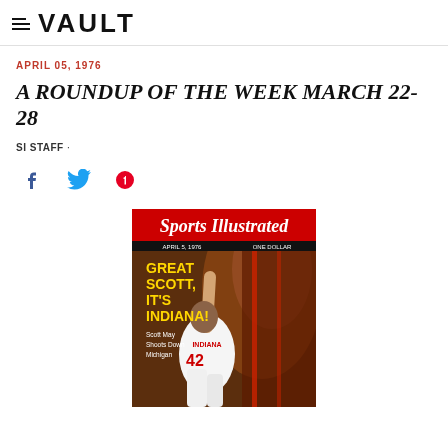VAULT
APRIL 05, 1976
A ROUNDUP OF THE WEEK MARCH 22-28
SI STAFF ·
[Figure (photo): Sports Illustrated magazine cover from April 5, 1976, featuring basketball player Scott May (#42) of Indiana Hoosiers shooting, with headline 'GREAT SCOTT, IT'S INDIANA!' and subtext 'Scott May Shoots Down Michigan']